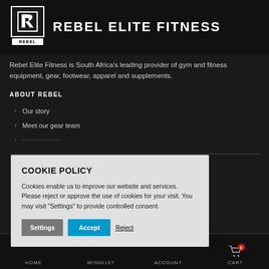[Figure (logo): Rebel Elite Fitness logo with stylized R icon and REBEL wordmark below, followed by brand name text in white capitals]
REBEL ELITE FITNESS
Rebel Elite Fitness is South Africa's leading provider of gym and fitness equipment, gear, footwear, apparel and supplements.
ABOUT REBEL
Our story
Meet our gear team
COOKIE POLICY
Cookies enable us to improve our website and services. Please reject or approve the use of cookies for your visit. You may visit "Settings" to provide controlled consent.
HOME   WISHLIST   ACCOUNT   CART